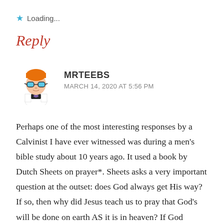★ Loading...
Reply
[Figure (illustration): Cartoon avatar of Dexter from Dexter's Laboratory — a boy with orange hair, blue glasses, wearing a white lab coat with black and purple accents]
MRTEEBS
MARCH 14, 2020 AT 5:56 PM
Perhaps one of the most interesting responses by a Calvinist I have ever witnessed was during a men's bible study about 10 years ago. It used a book by Dutch Sheets on prayer*. Sheets asks a very important question at the outset: does God always get His way? If so, then why did Jesus teach us to pray that God's will be done on earth AS it is in heaven? If God always gets His way, then isn't prayer ultimately meaningless in terms of effecting